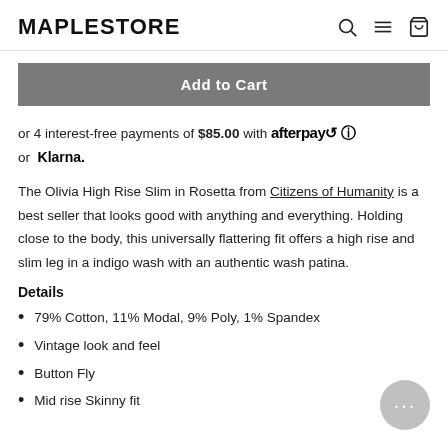MAPLESTORE
or 4 interest-free payments of $85.00 with afterpay or Klarna.
The Olivia High Rise Slim in Rosetta from Citizens of Humanity is a best seller that looks good with anything and everything. Holding close to the body, this universally flattering fit offers a high rise and slim leg in a indigo wash with an authentic wash patina.
Details
79% Cotton, 11% Modal, 9% Poly, 1% Spandex
Vintage look and feel
Button Fly
Mid rise Skinny fit